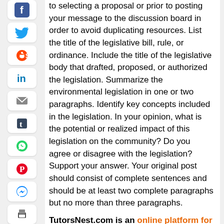[Figure (other): Social media share icons sidebar: Facebook, Twitter, Reddit, LinkedIn, Email, Tumblr, WhatsApp, Pinterest, Messenger, Print]
to selecting a proposal or prior to posting your message to the discussion board in order to avoid duplicating resources. List the title of the legislative bill, rule, or ordinance. Include the title of the legislative body that drafted, proposed, or authorized the legislation. Summarize the environmental legislation in one or two paragraphs. Identify key concepts included in the legislation. In your opinion, what is the potential or realized impact of this legislation on the community? Do you agree or disagree with the legislation? Support your answer. Your original post should consist of complete sentences and should be at least two complete paragraphs but no more than three paragraphs.
TutorsNest.com is an online platform for students to receive homework help from